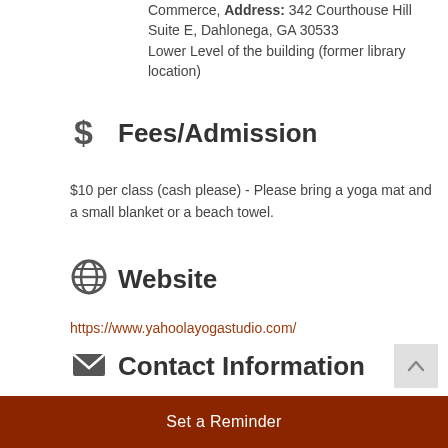Commerce, Address: 342 Courthouse Hill Suite E, Dahlonega, GA 30533
Lower Level of the building (former library location)
$ Fees/Admission
$10 per class (cash please) - Please bring a yoga mat and a small blanket or a beach towel.
Website
https://www.yahoolayogastudio.com/
Contact Information
Martha Dickerson 770-530-4528
Send Email
Set a Reminder